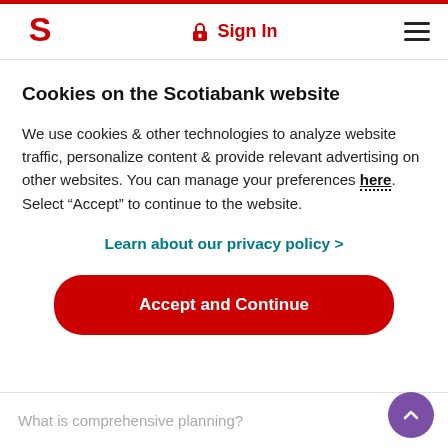Scotiabank — Sign In / Menu header
Cookies on the Scotiabank website
We use cookies & other technologies to analyze website traffic, personalize content & provide relevant advertising on other websites. You can manage your preferences here. Select “Accept” to continue to the website.
Learn about our privacy policy >
Accept and Continue
What is comprehensive planning?